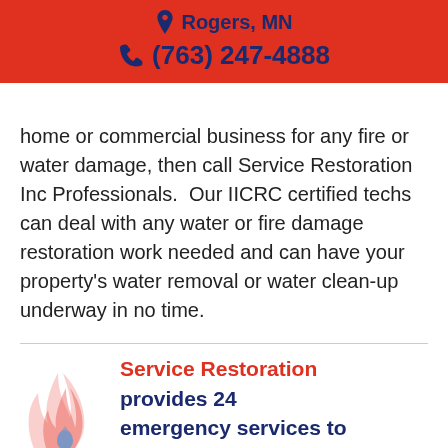Rogers, MN | (763) 247-4888
home or commercial business for any fire or water damage, then call Service Restoration Inc Professionals. Our IICRC certified techs can deal with any water or fire damage restoration work needed and can have your property's water removal or water clean-up underway in no time.
Service Restoration provides 24 emergency services to clean up restore all types of water damage